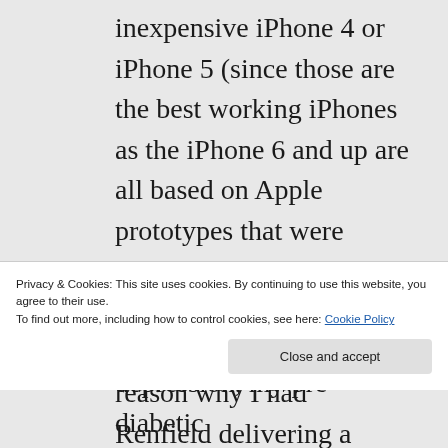inexpensive iPhone 4 or iPhone 5 (since those are the best working iPhones as the iPhone 6 and up are all based on Apple prototypes that were developed after Steve Jobs' death and therefore totally suck. Another reason why I had Renfield delivering a poisoned apple to Apple CEO Tim Cook. It's not only the Chinese government that's being avenged here) and to mail it to me
Privacy & Cookies: This site uses cookies. By continuing to use this website, you agree to their use.
To find out more, including how to control cookies, see here: Cookie Policy
depression, my pre-diabetic